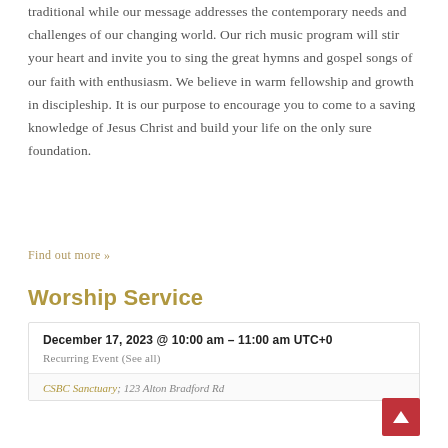traditional while our message addresses the contemporary needs and challenges of our changing world. Our rich music program will stir your heart and invite you to sing the great hymns and gospel songs of our faith with enthusiasm. We believe in warm fellowship and growth in discipleship. It is our purpose to encourage you to come to a saving knowledge of Jesus Christ and build your life on the only sure foundation.
Find out more »
Worship Service
| December 17, 2023 @ 10:00 am - 11:00 am UTC+0 |
| Recurring Event (See all) |
| CSBC Sanctuary; 123 Alton Bradford Rd |